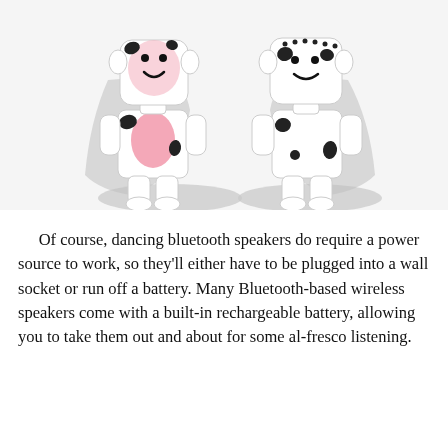[Figure (illustration): Two cartoon cow-themed robot/speaker figurines with blocky square bodies and heads. The left one is white with black spots and a pink oval belly, with a smiling pink face. The right one is white with black spots and a smiling face with dots above. Both cast grey shadows behind them on a white background.]
Of course, dancing bluetooth speakers do require a power source to work, so they'll either have to be plugged into a wall socket or run off a battery. Many Bluetooth-based wireless speakers come with a built-in rechargeable battery, allowing you to take them out and about for some al-fresco listening.